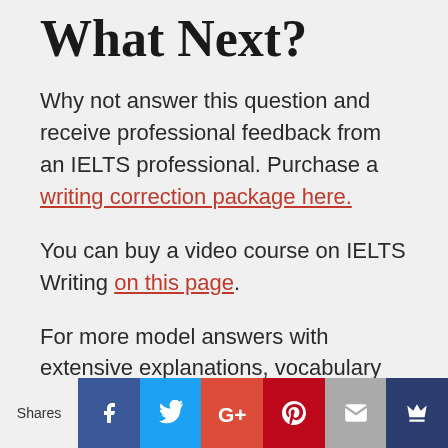What Next?
Why not answer this question and receive professional feedback from an IELTS professional. Purchase a writing correction package here.
You can buy a video course on IELTS Writing on this page.
For more model answers with extensive explanations, vocabulary and exercises, visit our eBook page and purchase our IELTS Writing Task 2 Topic Vocabulary
Shares [Facebook] [Twitter] [Google+] [Pinterest] [Email] [Crown]